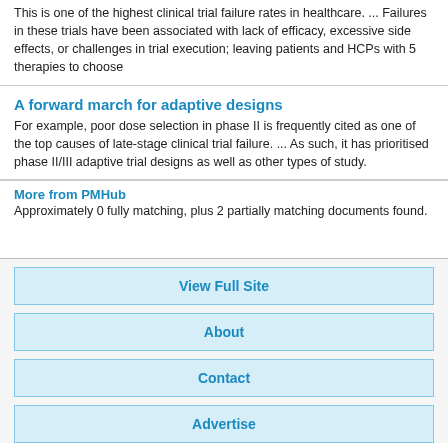This is one of the highest clinical trial failure rates in healthcare. ... Failures in these trials have been associated with lack of efficacy, excessive side effects, or challenges in trial execution; leaving patients and HCPs with 5 therapies to choose
A forward march for adaptive designs
For example, poor dose selection in phase II is frequently cited as one of the top causes of late-stage clinical trial failure. ... As such, it has prioritised phase II/III adaptive trial designs as well as other types of study.
More from PMHub
Approximately 0 fully matching, plus 2 partially matching documents found.
View Full Site
About
Contact
Advertise